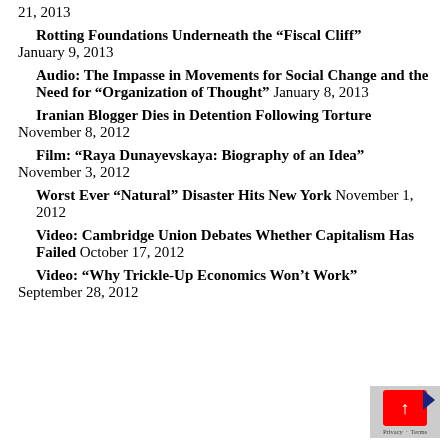21, 2013
Rotting Foundations Underneath the “Fiscal Cliff” January 9, 2013
Audio: The Impasse in Movements for Social Change and the Need for “Organization of Thought” January 8, 2013
Iranian Blogger Dies in Detention Following Torture November 8, 2012
Film: “Raya Dunayevskaya: Biography of an Idea” November 3, 2012
Worst Ever “Natural” Disaster Hits New York November 1, 2012
Video: Cambridge Union Debates Whether Capitalism Has Failed October 17, 2012
Video: “Why Trickle-Up Economics Won’t Work” September 28, 2012